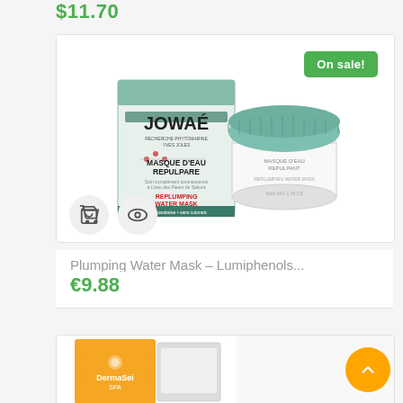$11.70
[Figure (photo): Jowaé Plumping Water Mask product box and jar with green lid on white background, with On sale! badge]
Plumping Water Mask - Lumiphenols...
€9.88
[Figure (photo): Partial view of DermaSei Spa product packaging in orange and white/grey]